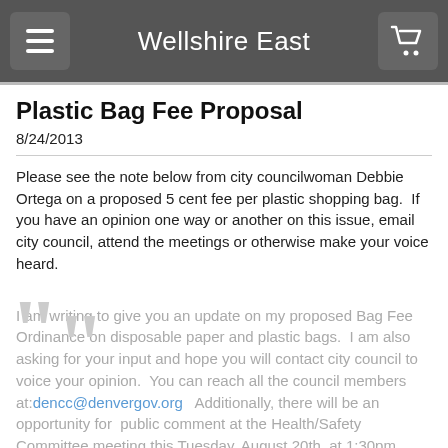Wellshire East
Plastic Bag Fee Proposal
8/24/2013
Please see the note below from city councilwoman Debbie Ortega on a proposed 5 cent fee per plastic shopping bag.  If you have an opinion one way or another on this issue, email city council, attend the meetings or otherwise make your voice heard.
I am writing to give you an update on my proposed Bag Fee Ordinance on disposable paper and plastic bags.  I am also asking for your input and hope you will contact city council to voice your opinion.  You can reach all the council members at: dencc@denvergov.org  Additionally, there will be an opportunity for  public comment at the Health/Safety Committee meeting this Tuesday, August 20th, at 1:30pm,